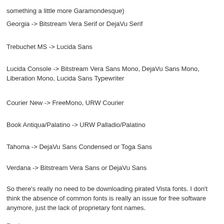something a little more Garamondesque)
Georgia -> Bitstream Vera Serif or DejaVu Serif
Trebuchet MS -> Lucida Sans
Lucida Console -> Bitstream Vera Sans Mono, DejaVu Sans Mono, Liberation Mono, Lucida Sans Typewriter
Courier New -> FreeMono, URW Courier
Book Antiqua/Palatino -> URW Palladio/Palatino
Tahoma -> DejaVu Sans Condensed or Toga Sans
Verdana -> Bitstream Vera Sans or DejaVu Sans
So there's really no need to be downloading pirated Vista fonts. I don't think the absence of common fonts is really an issue for free software anymore, just the lack of proprietary font names.
Reply